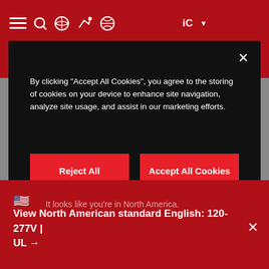[Figure (screenshot): Website header with dark red background showing navigation icons including hamburger menu, search, globe, and other icons on the top bar]
By clicking "Accept All Cookies", you agree to the storing of cookies on your device to enhance site navigation, analyze site usage, and assist in our marketing efforts.
Reject All
Accept All Cookies
Cookies Settings
their potential and their preservation and integrity over time.
It looks like you're in North America.
View North American standard English: 120-277V | UL →